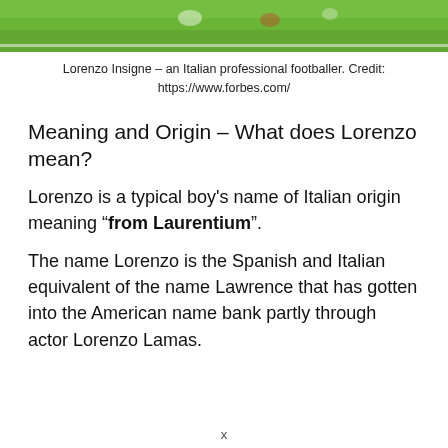[Figure (photo): Cropped photo of a football pitch with players, showing green grass and player(s) in the upper portion of the image.]
Lorenzo Insigne – an Italian professional footballer. Credit: https://www.forbes.com/
Meaning and Origin – What does Lorenzo mean?
Lorenzo is a typical boy's name of Italian origin meaning “from Laurentium”.
The name Lorenzo is the Spanish and Italian equivalent of the name Lawrence that has gotten into the American name bank partly through actor Lorenzo Lamas.
x